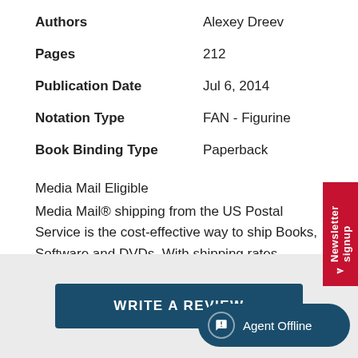| Authors | Alexey Dreev |
| Pages | 212 |
| Publication Date | Jul 6, 2014 |
| Notation Type | FAN - Figurine |
| Book Binding Type | Paperback |
Media Mail Eligible
Media Mail® shipping from the US Postal Service is the cost-effective way to ship Books, Software and DVDs. With shipping rates starting at only $5.00, it's the most affordable shipping method available.
WRITE A REVIEW
Newsletter signup
Agent Offline